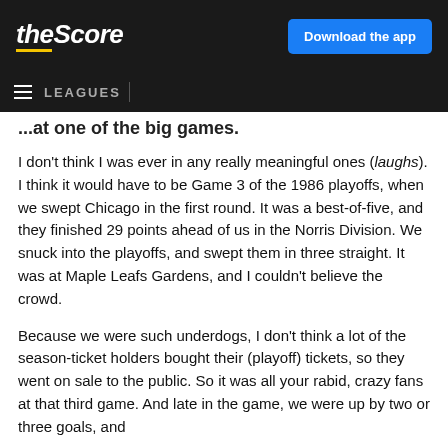theScore | Download the app
LEAGUES
...at one of the big games.
I don't think I was ever in any really meaningful ones (laughs). I think it would have to be Game 3 of the 1986 playoffs, when we swept Chicago in the first round. It was a best-of-five, and they finished 29 points ahead of us in the Norris Division. We snuck into the playoffs, and swept them in three straight. It was at Maple Leafs Gardens, and I couldn't believe the crowd.
Because we were such underdogs, I don't think a lot of the season-ticket holders bought their (playoff) tickets, so they went on sale to the public. So it was all your rabid, crazy fans at that third game. And late in the game, we were up by two or three goals, and